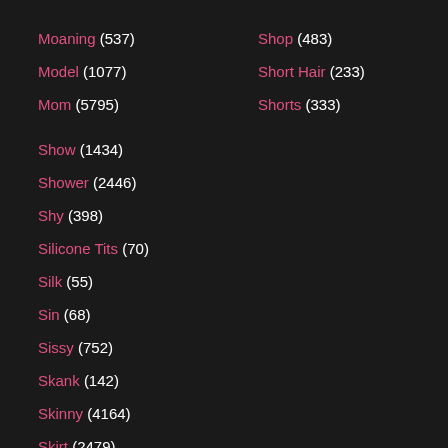Moaning (537)
Model (1077)
Mom (5795)
Show (1434)
Shower (2446)
Shy (398)
Silicone Tits (70)
Silk (55)
Sin (68)
Sissy (752)
Skank (142)
Skinny (4164)
Skirt (2479)
Slapping (260)
Slave (2610)
Shop (483)
Short Hair (233)
Shorts (333)